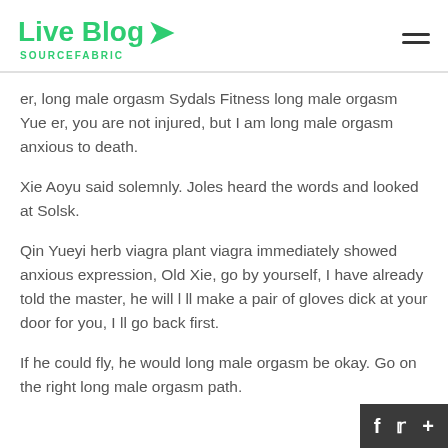Live Blog SOURCEFABRIC
er, long male orgasm Sydals Fitness long male orgasm Yue er, you are not injured, but I am long male orgasm anxious to death.
Xie Aoyu said solemnly. Joles heard the words and looked at Solsk.
Qin Yueyi herb viagra plant viagra immediately showed anxious expression, Old Xie, go by yourself, I have already told the master, he will l ll make a pair of gloves dick at your door for you, I ll go back first.
If he could fly, he would long male orgasm be okay. Go on the right long male orgasm path.